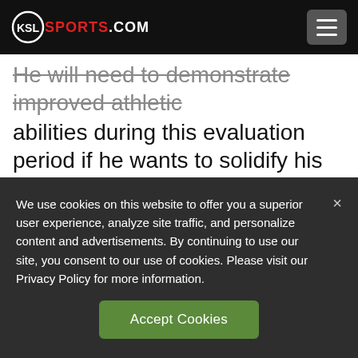KSL SPORTS.COM
He will need to demonstrate improved athletic abilities during this evaluation period if he wants to solidify his draft stock and the Shrine Game is the perfect starting point to doing so.
Matt Cor...
We use cookies on this website to offer you a superior user experience, analyze site traffic, and personalize content and advertisements. By continuing to use our site, you consent to our use of cookies. Please visit our Privacy Policy for more information.
Accept Cookies